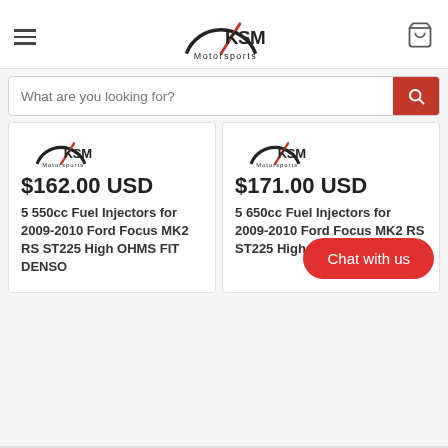[Figure (logo): KSM Motorsports logo with speedometer arc and red needle]
What are you looking for?
[Figure (logo): KSM Motorsports small logo on product card 1]
$162.00 USD
5 550cc Fuel Injectors for 2009-2010 Ford Focus MK2 RS ST225 High OHMS FIT DENSO
[Figure (logo): KSM Motorsports small logo on product card 2]
$171.00 USD
5 650cc Fuel Injectors for 2009-2010 Ford Focus MK2 RS ST225 High OHMS FIT DENSO
Chat with us